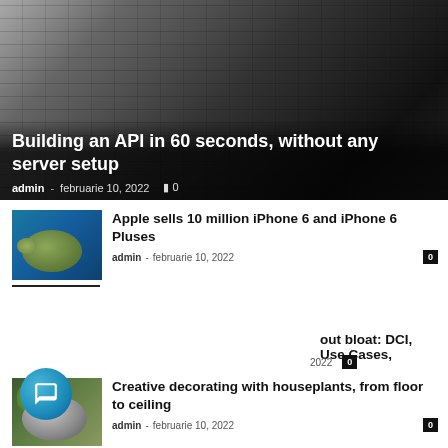[Figure (photo): Dark keyboard on desk, hero image background]
Building an API in 60 seconds, without any server setup
admin - februarie 10, 2022  ◻ 0
[Figure (photo): Sea turtle underwater, blue background thumbnail]
Apple sells 10 million iPhone 6 and iPhone 6 Pluses
admin - februarie 10, 2022  0
[Figure (infographic): Popup tooltip with globe icon showing mapamond media advertising text]
mapamondⓘmedia advertising ⓘ Promovează afacerea ta aici. ⓘ Promote your business here.
…out bloat: DCI, Use Cases,
2022  0
[Figure (photo): Food bowl with greens, overhead shot thumbnail]
Creative decorating with houseplants, from floor to ceiling
admin - februarie 10, 2022  0